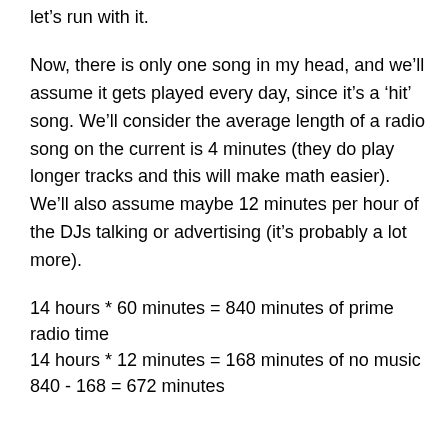let’s run with it.
Now, there is only one song in my head, and we’ll assume it gets played every day, since it’s a ‘hit’ song. We’ll consider the average length of a radio song on the current is 4 minutes (they do play longer tracks and this will make math easier). We’ll also assume maybe 12 minutes per hour of the DJs talking or advertising (it’s probably a lot more).
14 hours * 60 minutes = 840 minutes of prime radio time
14 hours * 12 minutes = 168 minutes of no music
840 - 168 = 672 minutes